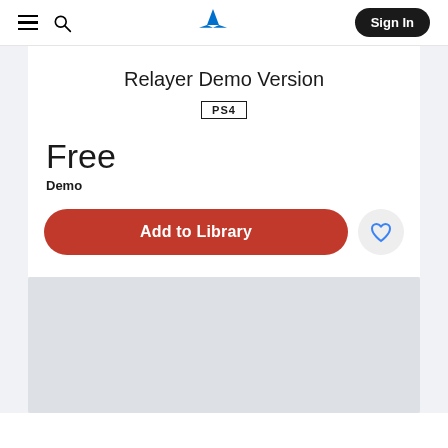PlayStation Store navigation bar with hamburger menu, search icon, PlayStation logo, and Sign In button
Relayer Demo Version
PS4
Free
Demo
Add to Library
[Figure (screenshot): Gray placeholder image area at the bottom of the page]